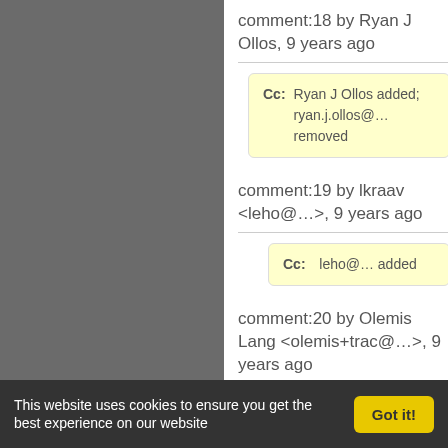comment:18 by Ryan J Ollos, 9 years ago
Cc: Ryan J Ollos added; ryan.j.ollos@… removed
comment:19 by lkraav <leho@…>, 9 years ago
Cc: leho@… added
comment:20 by Olemis Lang <olemis+trac@…>, 9 years ago
This website uses cookies to ensure you get the best experience on our website